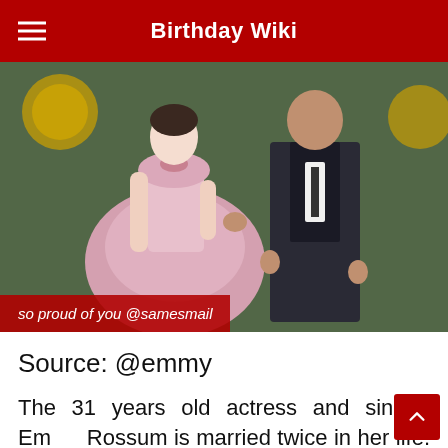Birthday Wiki
[Figure (photo): A woman in a pink strapless ballgown and a man in a dark suit standing together on what appears to be a red carpet event with greenery in the background. A red overlay caption reads: so proud of you @samesmail]
so proud of you @samesmail
Source: @emmy
The 31 years old actress and singer, Emmy Rossum is married twice in her life. She was